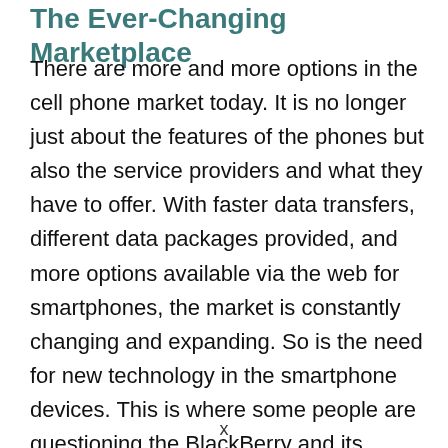The Ever-Changing Marketplace
There are more and more options in the cell phone market today. It is no longer just about the features of the phones but also the service providers and what they have to offer. With faster data transfers, different data packages provided, and more options available via the web for smartphones, the market is constantly changing and expanding. So is the need for new technology in the smartphone devices. This is where some people are questioning the BlackBerry and its continued usefulness.
x